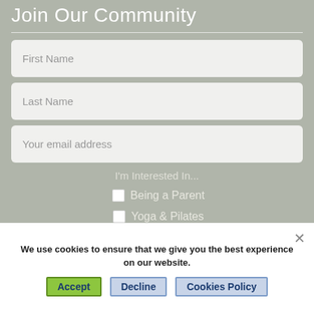Join Our Community
First Name
Last Name
Your email address
I'm Interested In...
Being a Parent
Yoga & Pilates
We use cookies to ensure that we give you the best experience on our website.
Accept  Decline  Cookies Policy